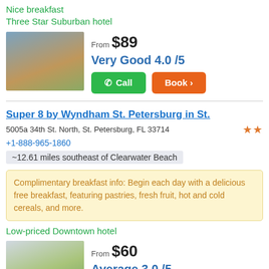Nice breakfast
Three Star Suburban hotel
From $89
Very Good 4.0 /5
[Figure (photo): Exterior photo of a hotel building with warm-colored facade]
Super 8 by Wyndham St. Petersburg in St.
5005a 34th St. North, St. Petersburg, FL 33714
+1-888-965-1860
~12.61 miles southeast of Clearwater Beach
Complimentary breakfast info: Begin each day with a delicious free breakfast, featuring pastries, fresh fruit, hot and cold cereals, and more.
Low-priced Downtown hotel
From $60
Average 3.0 /5
[Figure (photo): Exterior photo of a motel-style building with palm trees]